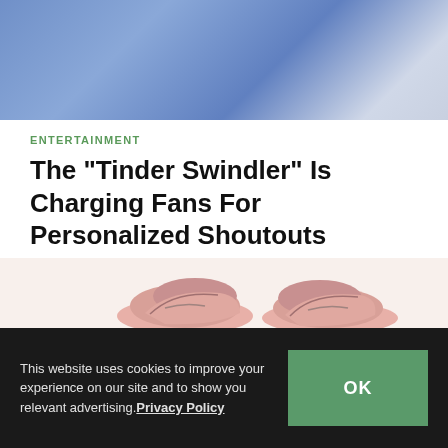[Figure (photo): Top portion of a person in a blue t-shirt, partial view]
ENTERTAINMENT
The "Tinder Swindler" Is Charging Fans For Personalized Shoutouts
Via video messaging platform Cameo.
By Pauline De Leon  Feb 21, 2022  🔥 2.3K
[Figure (photo): Bottom portion showing pink/salmon colored sneakers]
This website uses cookies to improve your experience on our site and to show you relevant advertising. Privacy Policy